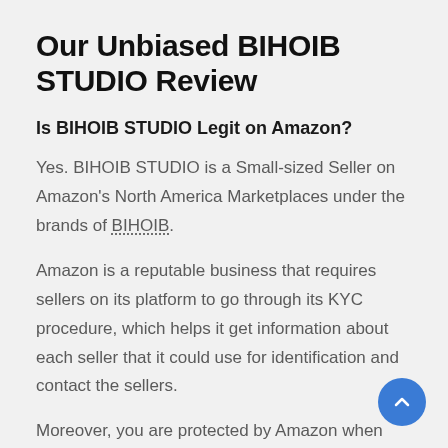Our Unbiased BIHOIB STUDIO Review
Is BIHOIB STUDIO Legit on Amazon?
Yes. BIHOIB STUDIO is a Small-sized Seller on Amazon's North America Marketplaces under the brands of BIHOIB.
Amazon is a reputable business that requires sellers on its platform to go through its KYC procedure, which helps it get information about each seller that it could use for identification and contact the sellers.
Moreover, you are protected by Amazon when